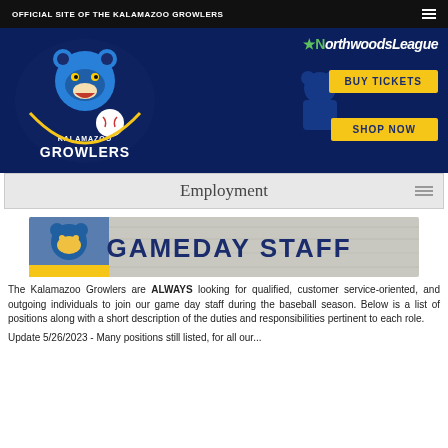OFFICIAL SITE OF THE KALAMAZOO GROWLERS
[Figure (illustration): Kalamazoo Growlers hero banner with team logo, Northwoods League logo, BUY TICKETS button, and SHOP NOW button on dark navy background]
Employment
[Figure (illustration): Gameday Staff banner image with Kalamazoo Growlers bear mascot on left and 'GAMEDAY STAFF' text in large bold navy letters on wooden background]
The Kalamazoo Growlers are ALWAYS looking for qualified, customer service-oriented, and outgoing individuals to join our game day staff during the baseball season. Below is a list of positions along with a short description of the duties and responsibilities pertinent to each role.
Update 5/26/2023 - Many positions still listed, for all our...